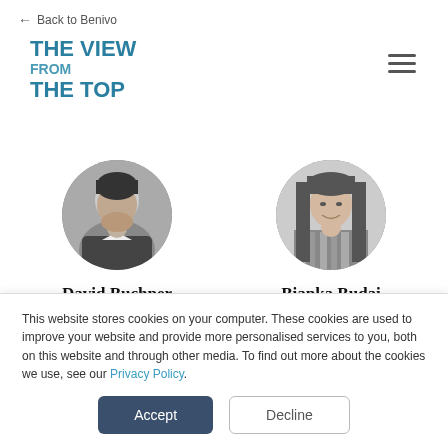← Back to Benivo
THE VIEW
FROM
THE TOP
[Figure (photo): Black and white circular headshot of David Buchner, a man in dark clothing]
David Buchner
Vice President - Global Mobility
[Figure (photo): Black and white circular headshot of Bianka Budai, a woman with long straight hair]
Bianka Budai
Global Mobility Program Manager
This website stores cookies on your computer. These cookies are used to improve your website and provide more personalised services to you, both on this website and through other media. To find out more about the cookies we use, see our Privacy Policy.